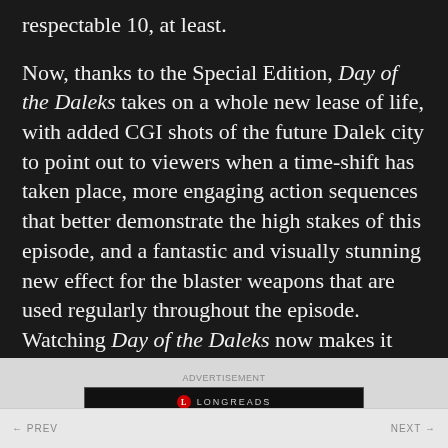respectable 10, at least.
Now, thanks to the Special Edition, Day of the Daleks takes on a whole new lease of life, with added CGI shots of the future Dalek city to point out to viewers when a time-shift has taken place, more engaging action sequences that better demonstrate the high stakes of this episode, and a fantastic and visually stunning new effect for the blaster weapons that are used regularly throughout the episode. Watching Day of the Daleks now makes it seem less like an episode made in 1972 and more like
[Figure (other): Longreads advertisement banner with logo and tagline 'Read anything great lately?']